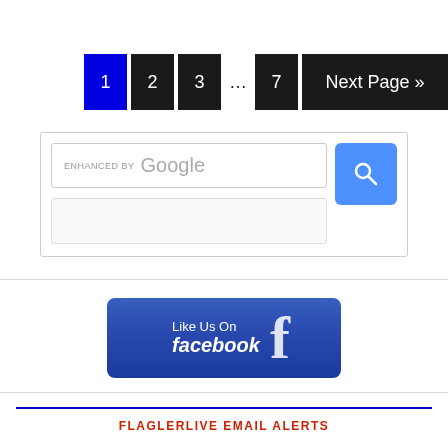[Figure (screenshot): Pagination bar with buttons: 1 (active/blue), 2, 3, ..., 7, Next Page »]
[Figure (screenshot): Enhanced by Google search widget with search icon button]
[Figure (screenshot): Like Us On facebook button with Facebook logo]
FLAGLERLIVE EMAIL ALERTS